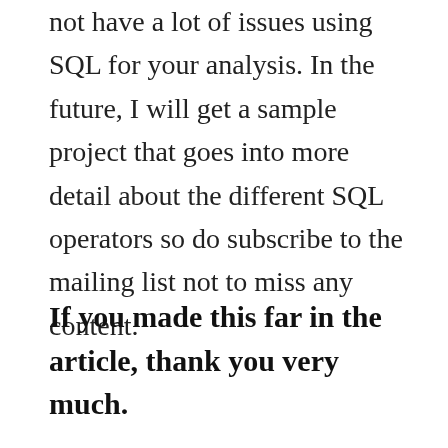not have a lot of issues using SQL for your analysis. In the future, I will get a sample project that goes into more detail about the different SQL operators so do subscribe to the mailing list not to miss any content.
If you made this far in the article, thank you very much.